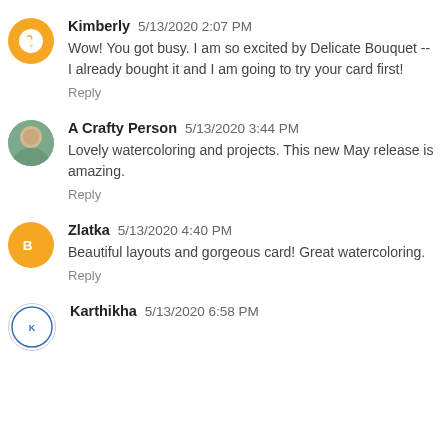Kimberly 5/13/2020 2:07 PM
Wow! You got busy. I am so excited by Delicate Bouquet -- I already bought it and I am going to try your card first!
Reply
A Crafty Person 5/13/2020 3:44 PM
Lovely watercoloring and projects. This new May release is amazing.
Reply
Zlatka 5/13/2020 4:40 PM
Beautiful layouts and gorgeous card! Great watercoloring.
Reply
Karthikha 5/13/2020 6:58 PM